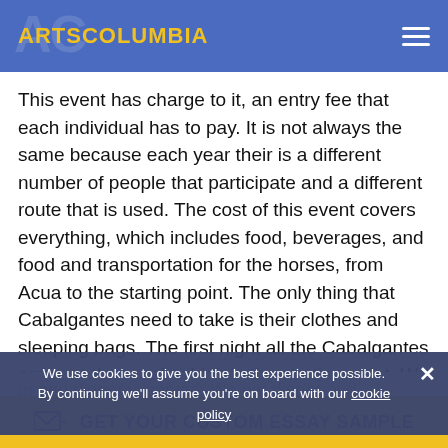ARTSCOLUMBIA
This event has charge to it, an entry fee that each individual has to pay. It is not always the same because each year their is a different number of people that participate and a different route that is used. The cost of this event covers everything, which includes food, beverages, and food and transportation for the horses, from Acua to the starting point. The only thing that Cabalgantes need to take is their clothes and sleeping bags. The first night all the Cabalgantes arrive at the ranch which is the starting point. We get there at about 6 p.
m and dinner is served. We eat dinner and everyone begins to drink. The first day is the craziest day because everyone is excited about the upcoming
We use cookies to give you the best experience possible. By continuing we'll assume you're on board with our cookie policy
GET YOUR CUSTOM ESSAY SAMPLE